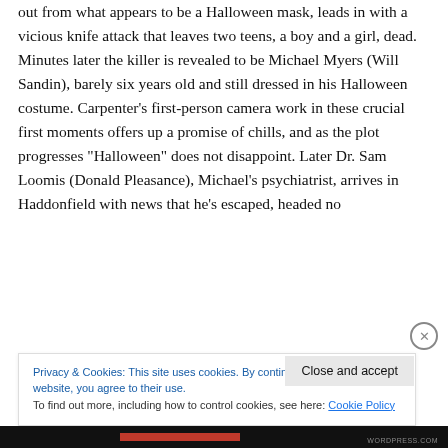out from what appears to be a Halloween mask, leads in with a vicious knife attack that leaves two teens, a boy and a girl, dead. Minutes later the killer is revealed to be Michael Myers (Will Sandin), barely six years old and still dressed in his Halloween costume. Carpenter's first-person camera work in these crucial first moments offers up a promise of chills, and as the plot progresses “Halloween” does not disappoint. Later Dr. Sam Loomis (Donald Pleasance), Michael’s psychiatrist, arrives in Haddonfield with news that he’s escaped, headed no
Privacy & Cookies: This site uses cookies. By continuing to use this website, you agree to their use.
To find out more, including how to control cookies, see here: Cookie Policy